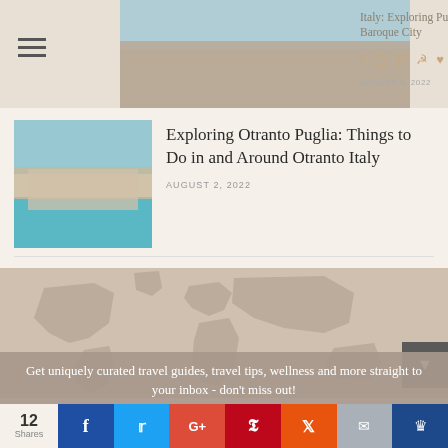Italy: Exploring Puglia's Baroque City
Exploring Otranto Puglia: Things to Do in and Around Otranto Italy
AUGUST 2, 2022
[Figure (map): World map silhouette in muted brown/beige tones showing continents]
Get uniquely curated travel guides, travel tips, wellness and more straight to your inbox - don't miss out!
YOUR EMAIL ADDRESS
12 Shares